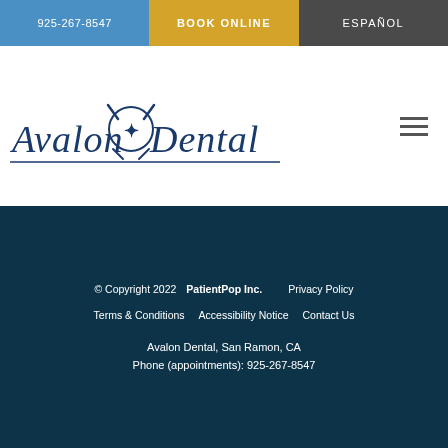925-267-8547 | BOOK ONLINE | ESPAÑOL
[Figure (logo): Avalon Dental logo with dental emblem and italic script text]
© Copyright 2022 PatientPop Inc.   Privacy Policy   Terms & Conditions   Accessibility Notice   Contact Us   Avalon Dental, San Ramon, CA   Phone (appointments): 925-267-8547